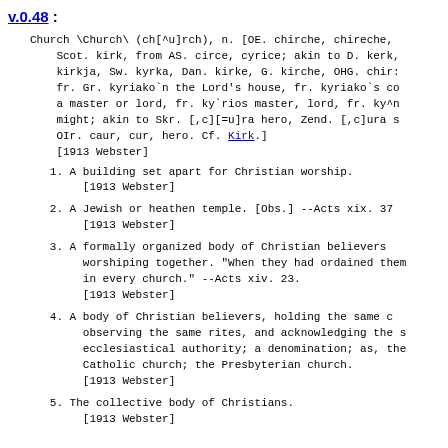v.0.48 :
Church \Church\ (ch[^u]rch), n. [OE. chirche, chireche, Scot. kirk, from AS. circe, cyrice; akin to D. kerk, kirkja, Sw. kyrka, Dan. kirke, G. kirche, OHG. chir: fr. Gr. kyriako`n the Lord's house, fr. kyriako`s co a master or lord, fr. ky`rios master, lord, fr. ky^n might; akin to Skr. [,c][=u]ra hero, Zend. [,c]ura s OIr. caur, cur, hero. Cf. Kirk.] [1913 Webster]
1. A building set apart for Christian worship.
        [1913 Webster]
2. A Jewish or heathen temple. [Obs.] --Acts xix. 37
        [1913 Webster]
3. A formally organized body of Christian believers worshiping together. "When they had ordained them in every church." --Acts xiv. 23.
        [1913 Webster]
4. A body of Christian believers, holding the same creed, observing the same rites, and acknowledging the same ecclesiastical authority; a denomination; as, the Catholic church; the Presbyterian church.
        [1913 Webster]
5. The collective body of Christians.
        [1913 Webster]